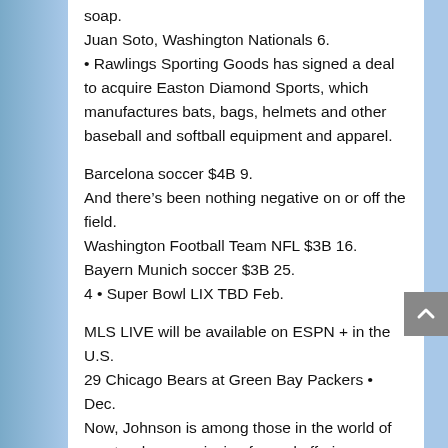soap.
Juan Soto, Washington Nationals 6.
• Rawlings Sporting Goods has signed a deal to acquire Easton Diamond Sports, which manufactures bats, bags, helmets and other baseball and softball equipment and apparel.
Barcelona soccer $4B 9.
And there’s been nothing negative on or off the field.
Washington Football Team NFL $3B 16.
Bayern Munich soccer $3B 25.
4 • Super Bowl LIX TBD Feb.
MLS LIVE will be available on ESPN + in the U.S.
29 Chicago Bears at Green Bay Packers • Dec.
Now, Johnson is among those in the world of sports who are grieving for and offering support, moral or otherwise, to the families and friends of the victims of the shooting at Sandy Hook Elementary School
https://www.amazon.com/dp/B086VD7JH1 Newtown,